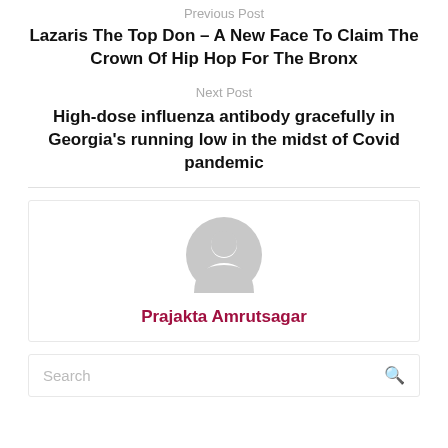Previous Post
Lazaris The Top Don – A New Face To Claim The Crown Of Hip Hop For The Bronx
Next Post
High-dose influenza antibody gracefully in Georgia's running low in the midst of Covid pandemic
[Figure (illustration): Author avatar placeholder – grey circle silhouette of a person]
Prajakta Amrutsagar
Search